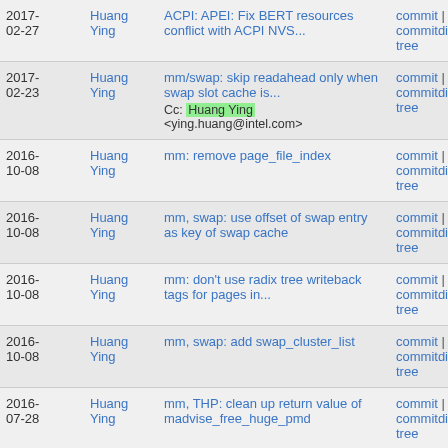| Date | Author | Commit Message | Links |
| --- | --- | --- | --- |
| 2017-02-27 | Huang Ying | ACPI: APEI: Fix BERT resources conflict with ACPI NVS... | commit | commitdiff | tree |
| 2017-02-23 | Huang Ying | mm/swap: skip readahead only when swap slot cache is...
Cc: Huang Ying <ying.huang@intel.com> | commit | commitdiff | tree |
| 2016-10-08 | Huang Ying | mm: remove page_file_index | commit | commitdiff | tree |
| 2016-10-08 | Huang Ying | mm, swap: use offset of swap entry as key of swap cache | commit | commitdiff | tree |
| 2016-10-08 | Huang Ying | mm: don't use radix tree writeback tags for pages in... | commit | commitdiff | tree |
| 2016-10-08 | Huang Ying | mm, swap: add swap_cluster_list | commit | commitdiff | tree |
| 2016-07-28 | Huang Ying | mm, THP: clean up return value of madvise_free_huge_pmd | commit | commitdiff | tree |